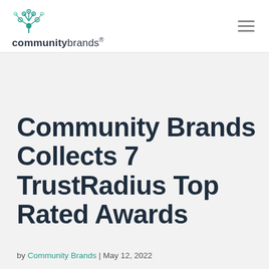[Figure (logo): Community Brands logo with network/tree icon above the text 'communitybrands']
Community Brands Collects 7 TrustRadius Top Rated Awards
by Community Brands | May 12, 2022